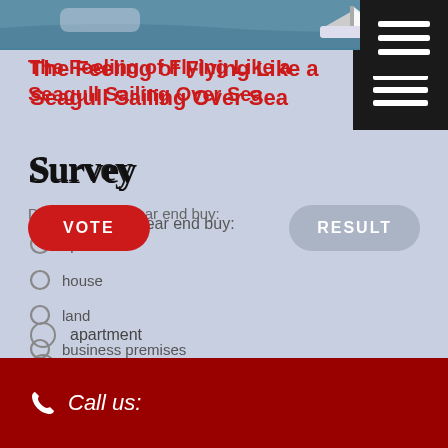[Figure (photo): Top banner photo of sea/water with a boat visible on the right side]
The Feeling of Flying Like a Seagull Sailing Over Sea
Survey
Do you have a year end buy:
apartment
house
land
business premises
VOTE
RESULT
Call us: